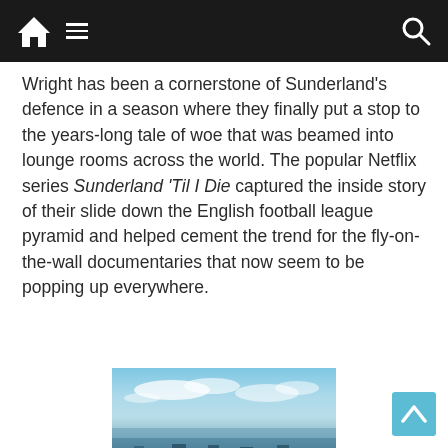Navigation bar with home, menu, and search icons
Wright has been a cornerstone of Sunderland's defence in a season where they finally put a stop to the years-long tale of woe that was beamed into lounge rooms across the world. The popular Netflix series Sunderland 'Til I Die captured the inside story of their slide down the English football league pyramid and helped cement the trend for the fly-on-the-wall documentaries that now seem to be popping up everywhere.
[Figure (photo): Aerial photograph of Sunderland city, showing urban landscape from above with blue sky and clouds in the background]